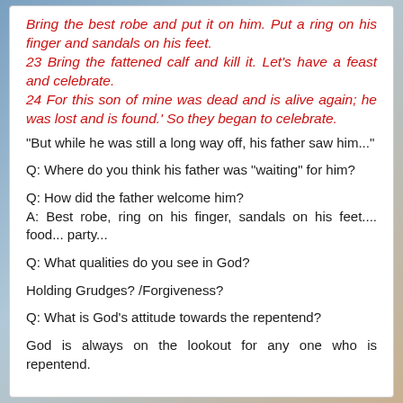Bring the best robe and put it on him. Put a ring on his finger and sandals on his feet.
23 Bring the fattened calf and kill it. Let's have a feast and celebrate.
24 For this son of mine was dead and is alive again; he was lost and is found.' So they began to celebrate.
"But while he was still a long way off, his father saw him..."
Q: Where do you think his father was "waiting" for him?
Q: How did the father welcome him?
A: Best robe, ring on his finger, sandals on his feet.... food... party...
Q: What qualities do you see in God?
Holding Grudges? /Forgiveness?
Q: What is God's attitude towards the repentend?
God is always on the lookout for any one who is repentend.